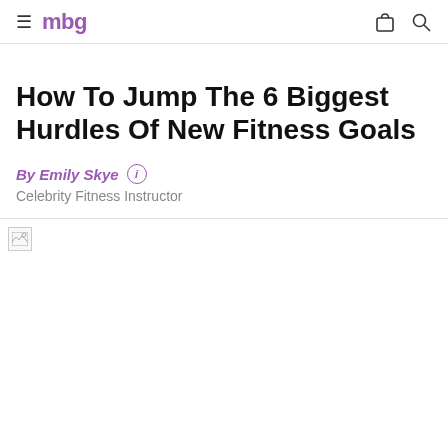mbg
How To Jump The 6 Biggest Hurdles Of New Fitness Goals
By Emily Skye — Celebrity Fitness Instructor
[Figure (photo): Article hero image (failed to load / broken image placeholder)]